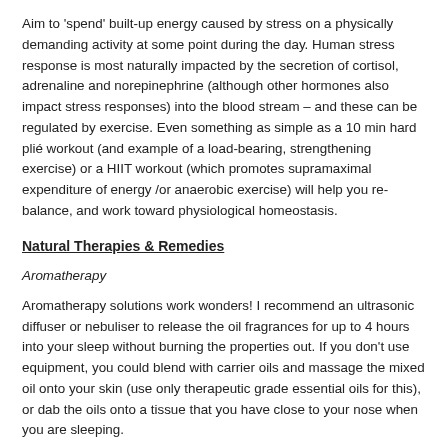Aim to 'spend' built-up energy caused by stress on a physically demanding activity at some point during the day. Human stress response is most naturally impacted by the secretion of cortisol, adrenaline and norepinephrine (although other hormones also impact stress responses) into the blood stream – and these can be regulated by exercise. Even something as simple as a 10 min hard plié workout (and example of a load-bearing, strengthening exercise) or a HIIT workout (which promotes supramaximal expenditure of energy /or anaerobic exercise) will help you re-balance, and work toward physiological homeostasis.
Natural Therapies & Remedies
Aromatherapy
Aromatherapy solutions work wonders! I recommend an ultrasonic diffuser or nebuliser to release the oil fragrances for up to 4 hours into your sleep without burning the properties out. If you don't use equipment, you could blend with carrier oils and massage the mixed oil onto your skin (use only therapeutic grade essential oils for this), or dab the oils onto a tissue that you have close to your nose when you are sleeping.